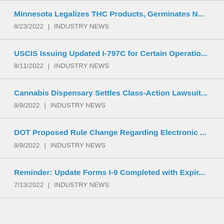Minnesota Legalizes THC Products, Germinates N...
8/23/2022 | INDUSTRY NEWS
USCIS Issuing Updated I-797C for Certain Operatio...
8/11/2022 | INDUSTRY NEWS
Cannabis Dispensary Settles Class-Action Lawsuit...
8/9/2022 | INDUSTRY NEWS
DOT Proposed Rule Change Regarding Electronic ...
8/9/2022 | INDUSTRY NEWS
Reminder: Update Forms I-9 Completed with Expir...
7/13/2022 | INDUSTRY NEWS